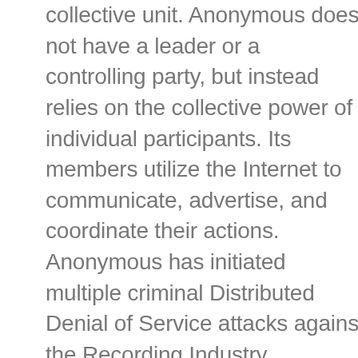collective unit. Anonymous does not have a leader or a controlling party, but instead relies on the collective power of individual participants. Its members utilize the Internet to communicate, advertise, and coordinate their actions. Anonymous has initiated multiple criminal Distributed Denial of Service attacks against the Recording Industry Association of America, the Motion Picture Association of America, the Church of Scientology, and various businesses in support of WikiLeaks.